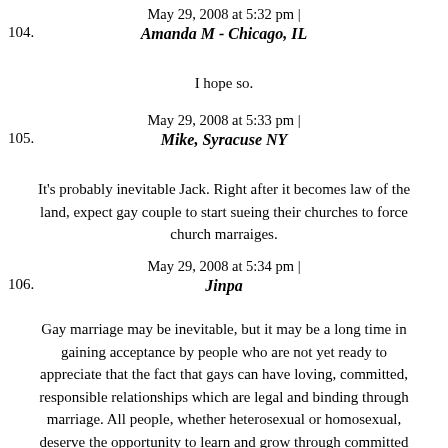May 29, 2008 at 5:32 pm |
104. Amanda M - Chicago, IL
I hope so.
May 29, 2008 at 5:33 pm |
105. Mike, Syracuse NY
It's probably inevitable Jack. Right after it becomes law of the land, expect gay couple to start sueing their churches to force church marraiges.
May 29, 2008 at 5:34 pm |
106. Jinpa
Gay marriage may be inevitable, but it may be a long time in gaining acceptance by people who are not yet ready to appreciate that the fact that gays can have loving, committed, responsible relationships which are legal and binding through marriage. All people, whether heterosexual or homosexual, deserve the opportunity to learn and grow through committed relationships that are taken seriously enough to be made legal. There are so many heterosexual marriages that are abusive and based on infidelity, because marital vows are not taken seriously. If a gay couple can demonstrate the standard of loving, faithful marriage, the